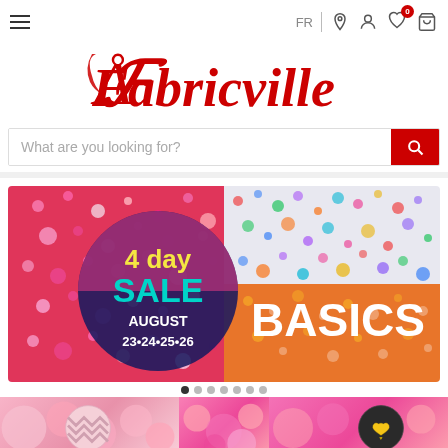[Figure (screenshot): Fabricville website screenshot showing navigation bar with hamburger menu, FR language selector, location icon, user icon, heart/wishlist icon with 0 badge, and cart icon]
[Figure (logo): Fabricville logo in red cursive/script font with decorative F]
[Figure (screenshot): Search bar with placeholder text 'What are you looking for?' and red search button]
[Figure (infographic): 4 day SALE BASICS banner - August 23•24•25•26, colorful glitter background with circle badge on left showing sale dates and BASICS text on right]
[Figure (photo): Bottom strip showing two partial circular product images - left shows pink/white chevron pattern, right shows dark fabric with gold heart design]